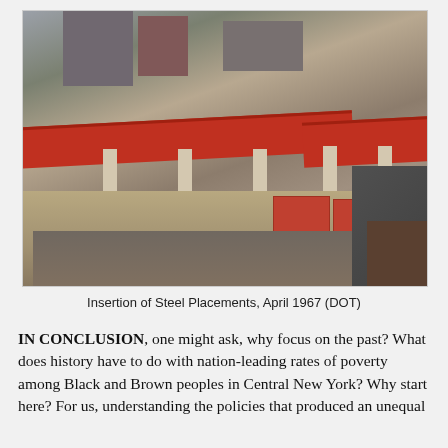[Figure (photo): Aerial photograph showing insertion of steel placements for an elevated highway or bridge structure under construction in an urban area, with parked cars below and surrounding buildings, April 1967, from the Department of Transportation (DOT).]
Insertion of Steel Placements, April 1967 (DOT)
IN CONCLUSION, one might ask, why focus on the past? What does history have to do with nation-leading rates of poverty among Black and Brown peoples in Central New York? Why start here? For us, understanding the policies that produced an unequal